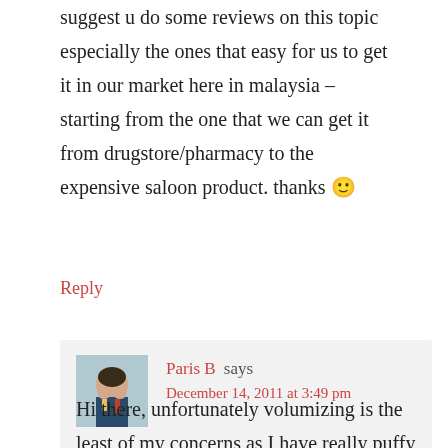suggest u do some reviews on this topic especially the ones that easy for us to get it in our market here in malaysia – starting from the one that we can get it from drugstore/pharmacy to the expensive saloon product. thanks 🙂
Reply
[Figure (photo): Avatar photo of Paris B commenter]
Paris B says
December 14, 2011 at 3:49 pm
Hi there, unfortunately volumizing is the least of my concerns as I have really puffy